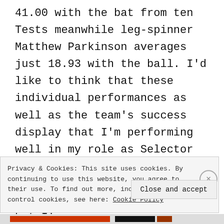41.00 with the bat from ten Tests meanwhile leg-spinner Matthew Parkinson averages just 18.93 with the ball. I'd like to think that these individual performances as well as the team's success display that I'm performing well in my role as Selector and Coach of our national side. Clearly the ODI performances need to pick up but I'm
Privacy & Cookies: This site uses cookies. By continuing to use this website, you agree to their use. To find out more, including how to control cookies, see here: Cookie Policy
Close and accept